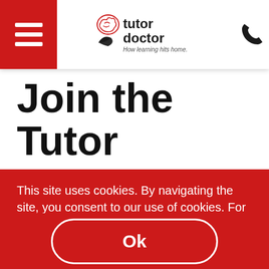Tutor Doctor — How learning hits home.
Join the Tutor Doctor Team Today
This site uses cookies. By navigating the site, you consent to our use of cookies. For details and controls, see our Privacy Policy and Cookie Policy.
Ok